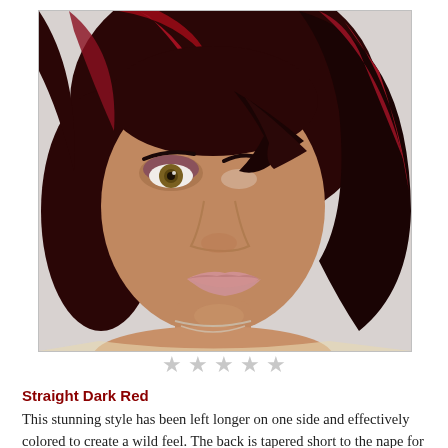[Figure (photo): Close-up portrait photo of a woman with a short asymmetric hairstyle colored dark red/maroon with black highlights. The style is longer on one side with side-swept bangs. She has hazel eyes with smoky eye makeup, light pink lips, and wears a silver necklace. The background is light grey/white.]
Straight Dark Red
This stunning style has been left longer on one side and effectively colored to create a wild feel. The back is tapered short to the nape for a clean